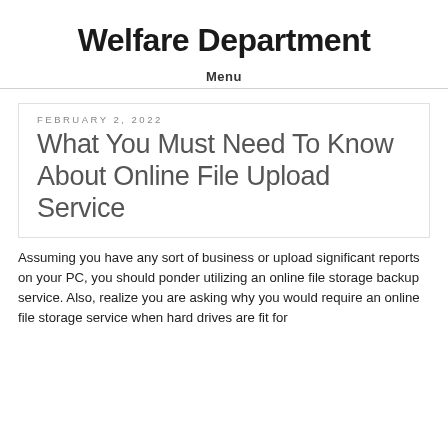Welfare Department
Menu
FEBRUARY 2, 2022
What You Must Need To Know About Online File Upload Service
Assuming you have any sort of business or upload significant reports on your PC, you should ponder utilizing an online file storage backup service. Also, realize you are asking why you would require an online file storage service when hard drives are fit for